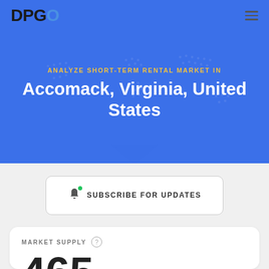DPGO
Accomack, Virginia, United States
ANALYZE SHORT-TERM RENTAL MARKET IN
SUBSCRIBE FOR UPDATES
MARKET SUPPLY
465